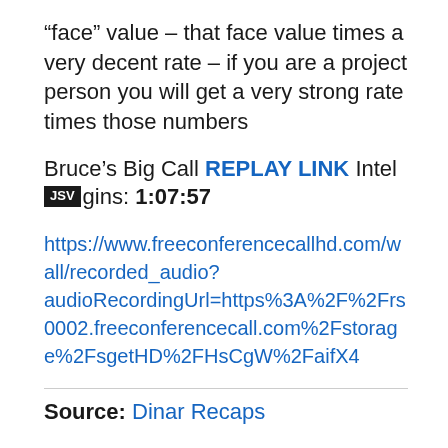“face” value – that face value times a very decent rate – if you are a project person you will get a very strong rate times those numbers
Bruce’s Big Call REPLAY LINK Intel begins: 1:07:57
https://www.freeconferencecallhd.com/wall/recorded_audio?audioRecordingUrl=https%3A%2F%2Frs0002.freeconferencecall.com%2Fstorage%2FsgetHD%2FHsCgW%2FaifX4
Source: Dinar Recaps